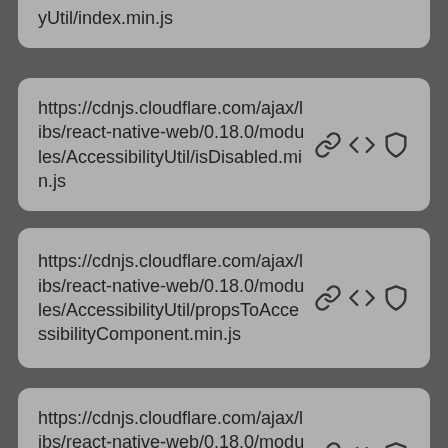yUtil/index.min.js
https://cdnjs.cloudflare.com/ajax/libs/react-native-web/0.18.0/modules/AccessibilityUtil/isDisabled.min.js
https://cdnjs.cloudflare.com/ajax/libs/react-native-web/0.18.0/modules/AccessibilityUtil/propsToAccessibilityComponent.min.js
https://cdnjs.cloudflare.com/ajax/libs/react-native-web/0.18.0/modules/AccessibilityUtil/propsToAriaRole.min.js